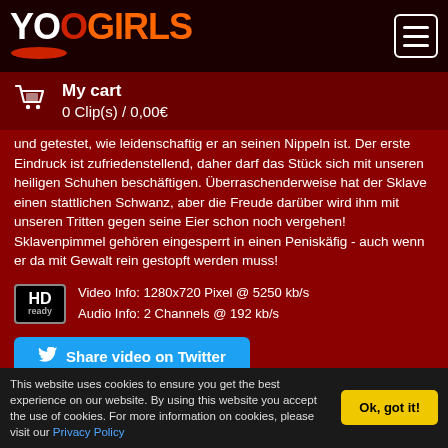[Figure (logo): YooGirls logo with orange GIRLS text and hamburger menu icon]
My cart
0 Clip(s) / 0,00€
und getestet, wie leidenschaftig er an seinen Nippeln ist. Der erste Eindruck ist zufriedenstellend, daher darf das Stück sich mit unseren heiligen Schuhen beschäftigen. Überraschenderweise hat der Sklave einen stattlichen Schwanz, aber die Freude darüber wird ihm mit unseren Tritten gegen seine Eier schon noch vergehen! Sklavenpimmel gehören eingesperrt in einen Peniskäfig - auch wenn er da mit Gewalt rein gestopft werden muss!
Video Info: 1280x720 Pixel @ 5250 kb/s
Audio Info: 2 Channels @ 192 kb/s
Share video on Twitter
| Length: 17min. | Size: 647MB |
| Format: MP4 | Language: German |
| Category: Chastity | Added: 2022-07-30 |
18,99 €
This website uses cookies to ensure you get the best experience on our website. By using this website you accept the use of cookies. For more information on cookies, please visit our Privacy Policy